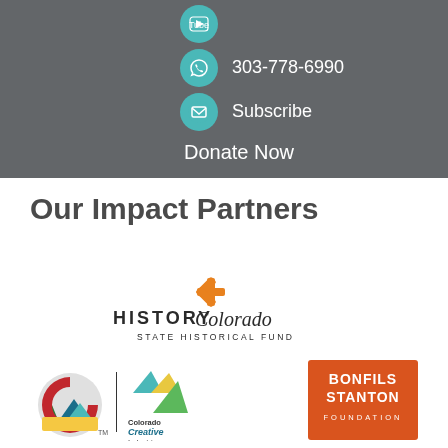[Figure (infographic): Dark grey banner with social media icons (YouTube, phone/WhatsApp, email) in teal circles, phone number 303-778-6990, Subscribe link, and Donate Now button]
Our Impact Partners
[Figure (logo): History Colorado State Historical Fund logo with orange snowflake symbol]
[Figure (logo): Colorado Creative Industries logo with Colorado C symbol and mountain/tree graphic]
[Figure (logo): Bonfils Stanton Foundation logo in orange/red box with white text]